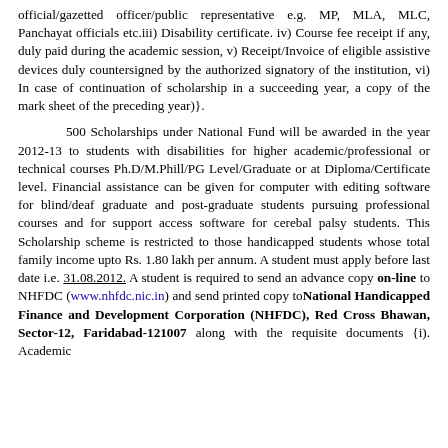official/gazetted officer/public representative e.g. MP, MLA, MLC, Panchayat officials etc.iii) Disability certificate. iv) Course fee receipt if any, duly paid during the academic session, v) Receipt/Invoice of eligible assistive devices duly countersigned by the authorized signatory of the institution, vi) In case of continuation of scholarship in a succeeding year, a copy of the mark sheet of the preceding year)}.
500 Scholarships under National Fund will be awarded in the year 2012-13 to students with disabilities for higher academic/professional or technical courses Ph.D/M.Phill/PG Level/Graduate or at Diploma/Certificate level. Financial assistance can be given for computer with editing software for blind/deaf graduate and post-graduate students pursuing professional courses and for support access software for cerebal palsy students. This Scholarship scheme is restricted to those handicapped students whose total family income upto Rs. 1.80 lakh per annum. A student must apply before last date i.e. 31.08.2012. A student is required to send an advance copy on-line to NHFDC (www.nhfdc.nic.in) and send printed copy to National Handicapped Finance and Development Corporation (NHFDC), Red Cross Bhawan, Sector-12, Faridabad-121007 along with the requisite documents {i). Academic